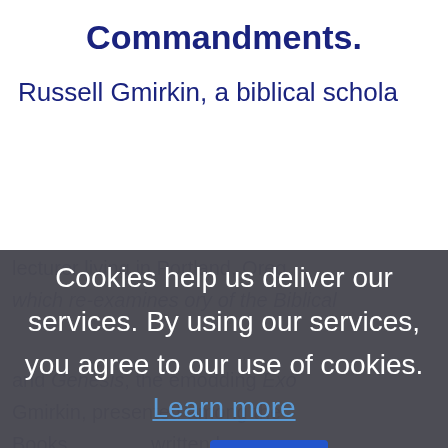Commandments.
Russell Gmirkin, a biblical schola...
lecturer living in Portland, Orego... which re-examines ory of the Biblical...
Cookies help us deliver our services. By using our services, you agree to our use of cookies. Learn more  OK
and Genesis, the emodding Exo... Gmirkin, presented among the... Books... written by...